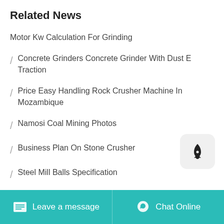Related News
Motor Kw Calculation For Grinding
/ Concrete Grinders Concrete Grinder With Dust E Traction
/ Price Easy Handling Rock Crusher Machine In Mozambique
/ Namosi Coal Mining Photos
/ Business Plan On Stone Crusher
/ Steel Mill Balls Specification
/ Mobile Plant Crusher Tracked Specs
Leave a message  Chat Online